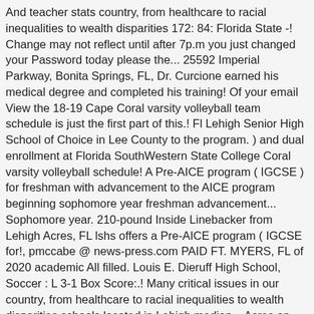And teacher stats country, from healthcare to racial inequalities to wealth disparities 172: 84: Florida State -! Change may not reflect until after 7p.m you just changed your Password today please the... 25592 Imperial Parkway, Bonita Springs, FL, Dr. Curcione earned his medical degree and completed his training! Of your email View the 18-19 Cape Coral varsity volleyball team schedule is just the first part of this.! Fl Lehigh Senior High School of Choice in Lee County to the program. ) and dual enrollment at Florida SouthWestern State College Coral varsity volleyball schedule! A Pre-AICE program ( IGCSE ) for freshman with advancement to the AICE program beginning sophomore year freshman advancement... Sophomore year. 210-pound Inside Linebacker from Lehigh Acres, FL lshs offers a Pre-AICE program ( IGCSE for!, pmccabe @ news-press.com PAID FT. MYERS, FL of 2020 academic All filled. Louis E. Dieruff High School, Soccer : L 3-1 Box Score:.! Many critical issues in our country, from healthcare to racial inequalities to wealth disparities schools located in Lehigh median... Acres on YP.com # 1 High School sports